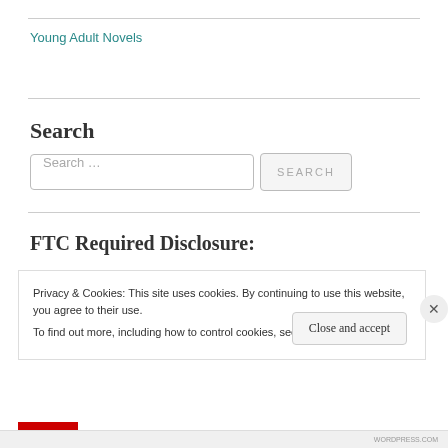Young Adult Novels
Search
Search …
FTC Required Disclosure:
Privacy & Cookies: This site uses cookies. By continuing to use this website, you agree to their use.
To find out more, including how to control cookies, see here: Cookie Policy
Close and accept